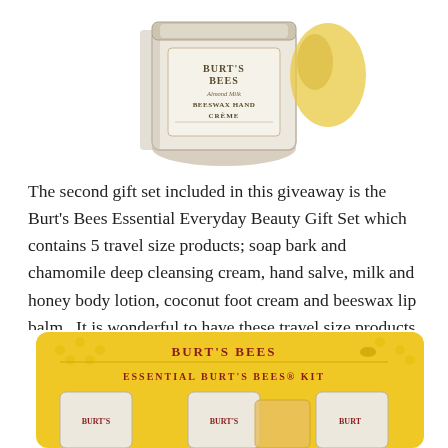[Figure (photo): Burt's Bees Almond Milk Beeswax Hand Creme product jar photo, partially cropped, shown at top of page]
The second gift set included in this giveaway is the Burt's Bees Essential Everyday Beauty Gift Set which contains 5 travel size products; soap bark and chamomile deep cleansing cream, hand salve, milk and honey body lotion, coconut foot cream and beeswax lip balm.  It is wonderful to have these travel size products ready to go on trips.  It takes way too much room in our luggage to try and take along the full-size items.
[Figure (photo): Burt's Bees Essential Burt's Bees Kit yellow gift set package, partially cropped at bottom of page, showing multiple product tubes]